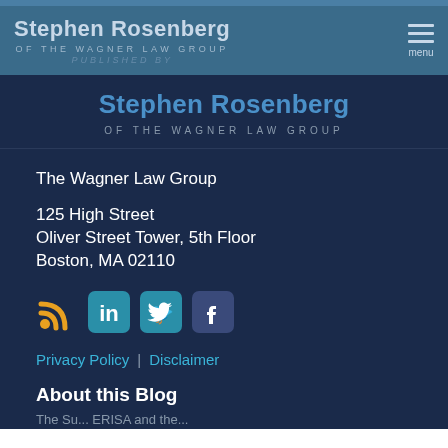Stephen Rosenberg OF THE WAGNER LAW GROUP
Stephen Rosenberg OF THE WAGNER LAW GROUP
The Wagner Law Group
125 High Street
Oliver Street Tower, 5th Floor
Boston, MA 02110
[Figure (infographic): Row of social media icons: RSS feed (orange), LinkedIn (teal), Twitter (teal), Facebook (dark blue/purple)]
Privacy Policy | Disclaimer
About this Blog
The Su... ERISA and the...